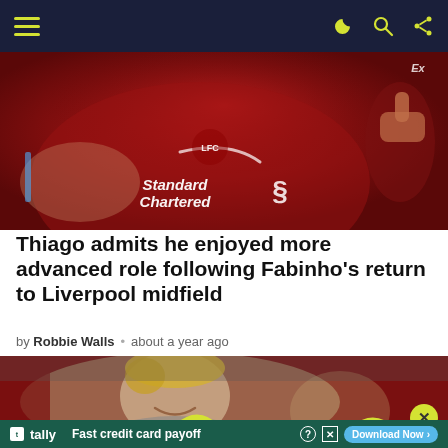Navigation bar with hamburger menu and icons
[Figure (photo): Liverpool FC player in red jersey (Standard Chartered sponsor) giving thumbs up, close-up torso shot]
Thiago admits he enjoyed more advanced role following Fabinho's return to Liverpool midfield
by Robbie Walls • about a year ago
[Figure (photo): Smiling man with blonde hair (likely Jürgen Klopp) in a grey jacket at a football venue, with crowd in background]
[Figure (screenshot): Advertisement banner: tally - Fast credit card payoff. Download Now button. Yellow wavy graphic and close button overlay.]